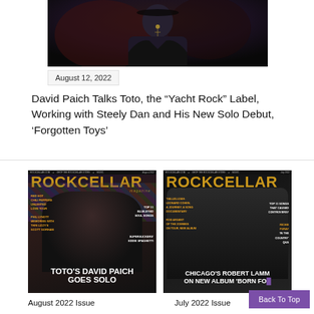[Figure (photo): Photo of a person (likely David Paich) wearing dark clothing and a necklace/cross, against a dark background with red tones]
August 12, 2022
David Paich Talks Toto, the “Yacht Rock” Label, Working with Steely Dan and His New Solo Debut, ‘Forgotten Toys’
[Figure (photo): Rockcellar Magazine cover - August 2022 Issue featuring Toto's David Paich, with cover lines including Red Hot Chili Peppers, Unlimited Love Tour, Phil Lynott Memories with Thin Lizzy's Scott Gorham, Top 11 Blue-Eyed Soul Songs, Supersuckers' Eddie Spaghetti, headline: TOTO'S DAVID PAICH GOES SOLO]
[Figure (photo): Rockcellar Magazine cover - July 2022 Issue featuring Chicago's Robert Lamm, with cover lines including Hallelujah: Leonard Cohen A Journey A Song Documentary, Rod Argent of the Zombies on Tour New Album, Top 11 Songs That Caused Controversy, Richie Furay 'In The Country' Q&A, headline: CHICAGO'S ROBERT LAMM ON NEW ALBUM 'BORN FO...']
August 2022 Issue
July 2022 Issue